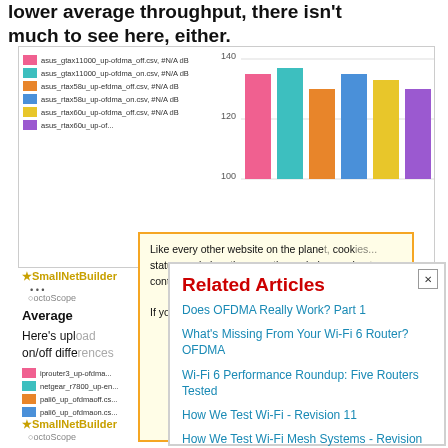lower average throughput, there isn't much to see here, either.
[Figure (bar-chart): Upload throughput comparison]
Average
Here's upload ... on/off differences
[Figure (bar-chart): Upload throughput comparison lower]
[Figure (infographic): Yellow popup overlay with cookie/privacy notice text]
[Figure (infographic): White Related Articles dialog with close button listing 5 article links]
Does OFDMA Really Work? Part 1
What's Missing From Your Wi-Fi 6 Router? OFDMA
Wi-Fi 6 Performance Roundup: Five Routers Tested
How We Test Wi-Fi - Revision 11
How We Test Wi-Fi Mesh Systems - Revision 2